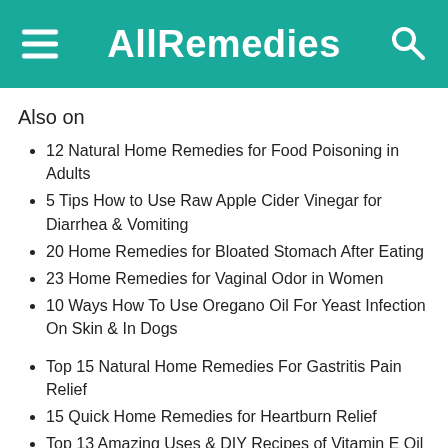AllRemedies
Also on
12 Natural Home Remedies for Food Poisoning in Adults
5 Tips How to Use Raw Apple Cider Vinegar for Diarrhea & Vomiting
20 Home Remedies for Bloated Stomach After Eating
23 Home Remedies for Vaginal Odor in Women
10 Ways How To Use Oregano Oil For Yeast Infection On Skin & In Dogs
Top 15 Natural Home Remedies For Gastritis Pain Relief
15 Quick Home Remedies for Heartburn Relief
Top 13 Amazing Uses & DIY Recipes of Vitamin E Oil for Face Skin
Top 14 Natural Home Remedies for Colon Cleansing Detox
29 Natural Home Remedies For Diarrhea in Adults